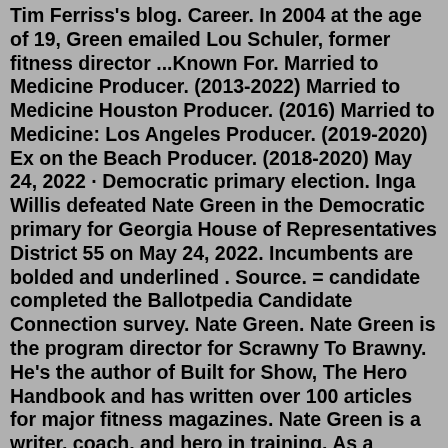Tim Ferriss's blog. Career. In 2004 at the age of 19, Green emailed Lou Schuler, former fitness director ...Known For. Married to Medicine Producer. (2013-2022) Married to Medicine Houston Producer. (2016) Married to Medicine: Los Angeles Producer. (2019-2020) Ex on the Beach Producer. (2018-2020) May 24, 2022 · Democratic primary election. Inga Willis defeated Nate Green in the Democratic primary for Georgia House of Representatives District 55 on May 24, 2022. Incumbents are bolded and underlined . Source. = candidate completed the Ballotpedia Candidate Connection survey. Nate Green. Nate Green is the program director for Scrawny To Brawny. He's the author of Built for Show, The Hero Handbook and has written over 100 articles for major fitness magazines. Nate Green is a writer, coach, and hero in training. As a teenager, Nate took himself from a scrawny 145 pounds to an athletic 185 pounds. Aug 16, 2021 · Nate Green passed away suddenly today and we will forever miss his smiling face and positive attitude. He was a husband, father, counselor,